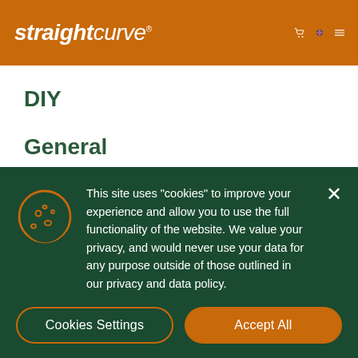straightcurve®
DIY
General
News
Questions
Tips
This site uses "cookies" to improve your experience and allow you to use the full functionality of the website. We value your privacy, and would never use your data for any purpose outside of those outlined in our privacy and data policy.
Cookies Settings | Accept All